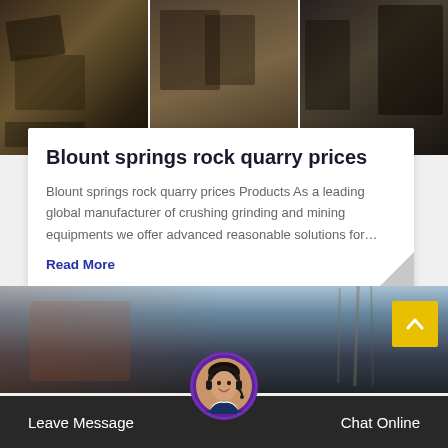[Figure (photo): Three-panel photo of a rock quarry showing large stone blocks and quarrying equipment]
Blount springs rock quarry prices
Blount springs rock quarry prices Products As a leading global manufacturer of crushing grinding and mining equipments we offer advanced reasonable solutions for…
Read More
[Figure (photo): Photo of a construction/industrial site with scaffolding and workers, with a yellow scroll-to-top button overlay]
Leave Message
Chat Online